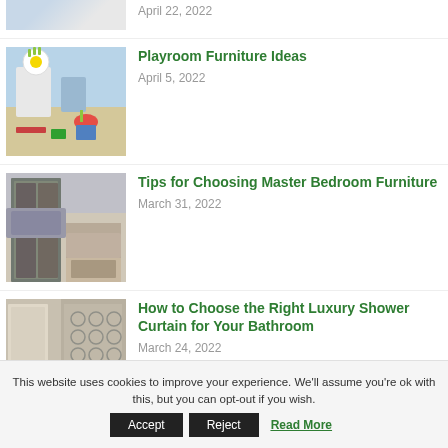[Figure (photo): Partial top image of a room, cropped at top of page]
April 22, 2022
[Figure (photo): Colorful playroom with flower wall art and toys]
Playroom Furniture Ideas
April 5, 2022
[Figure (photo): Master bedroom with large wardrobe and bench]
Tips for Choosing Master Bedroom Furniture
March 31, 2022
[Figure (photo): Shower curtain with geometric pattern in bathroom]
How to Choose the Right Luxury Shower Curtain for Your Bathroom
March 24, 2022
This website uses cookies to improve your experience. We'll assume you're ok with this, but you can opt-out if you wish.